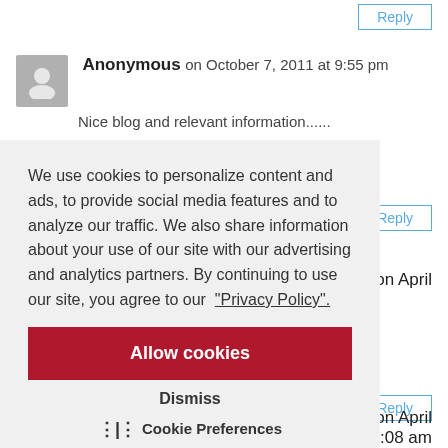Reply
Anonymous on October 7, 2011 at 9:55 pm
Nice blog and relevant information......
Reply
…estat on April
Reply
…estat on April 8, 2012 at 10:08 am
We use cookies to personalize content and ads, to provide social media features and to analyze our traffic. We also share information about your use of our site with our advertising and analytics partners. By continuing to use our site, you agree to our "Privacy Policy".
Allow cookies
Dismiss
Cookie Preferences